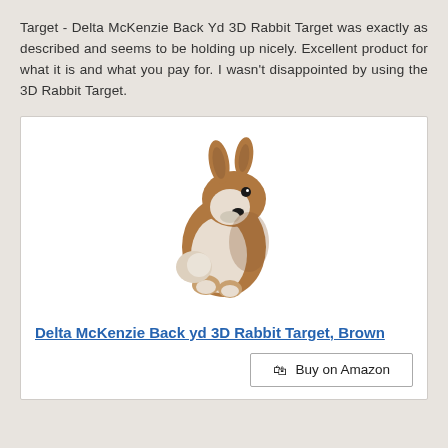Target - Delta McKenzie Back Yd 3D Rabbit Target was exactly as described and seems to be holding up nicely. Excellent product for what it is and what you pay for. I wasn't disappointed by using the 3D Rabbit Target.
[Figure (photo): Photo of a Delta McKenzie Back Yd 3D Rabbit Target product - a realistic brown and white rabbit figurine in a sitting upright position]
Delta McKenzie Back yd 3D Rabbit Target, Brown
Buy on Amazon